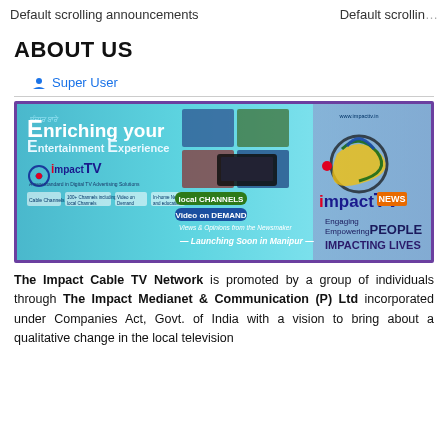Default scrolling announcements    Default scrollin
ABOUT US
Super User
[Figure (illustration): Impact TV and Impact TV News promotional banner with tagline 'Enriching your Entertainment Experience', showing local channels, video on demand, views & opinions sections, and 'Launching Soon in Manipur' text. Right side shows Impact TV News logo with 'Engaging Empowering PEOPLE IMPACTING LIVES' text.]
The Impact Cable TV Network is promoted by a group of individuals through The Impact Medianet & Communication (P) Ltd incorporated under Companies Act, Govt. of India with a vision to bring about a qualitative change in the local television